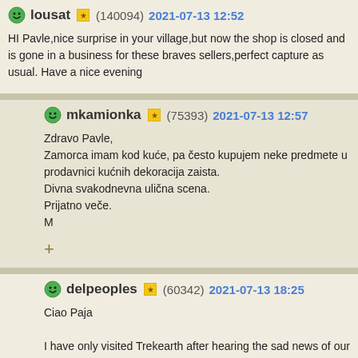lousat (140094) 2021-07-13 12:52
HI Pavle,nice surprise in your village,but now the shop is closed and is gone in a business for these braves sellers,perfect capture as usual. Have a nice evening
mkamionka (75393) 2021-07-13 12:57
Zdravo Pavle,
Zamorca imam kod kuće, pa često kupujem neke predmete u prodavnici kućnih dekoracija zaista.
Divna svakodnevna ulična scena.
Prijatno veče.
M
delpeoples (60342) 2021-07-13 18:25
Ciao Paja

I have only visited Trekearth after hearing the sad news of our friend Serghei. B and say hello to you. I pray you and your family are safe and well.

Un abbraccio
Lisa